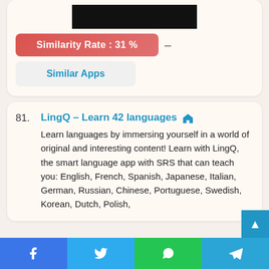[Figure (screenshot): Black image/video thumbnail bar]
Similarity Rate : 31 %
Similar Apps
81. LingQ – Learn 42 languages
Learn languages by immersing yourself in a world of original and interesting content! Learn with LingQ, the smart language app with SRS that can teach you: English, French, Spanish, Japanese, Italian, German, Russian, Chinese, Portuguese, Swedish, Korean, Dutch, Polish,
Facebook | Twitter | WhatsApp | Telegram